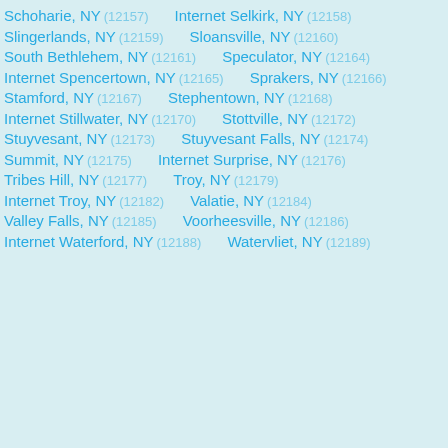Schoharie, NY (12157)  Internet Selkirk, NY (12158)
Slingerlands, NY (12159)  Sloansville, NY (12160)
South Bethlehem, NY (12161)  Speculator, NY (12164)
Internet Spencertown, NY (12165)  Sprakers, NY (12166)
Stamford, NY (12167)  Stephentown, NY (12168)
Internet Stillwater, NY (12170)  Stottville, NY (12172)
Stuyvesant, NY (12173)  Stuyvesant Falls, NY (12174)
Summit, NY (12175)  Internet Surprise, NY (12176)
Tribes Hill, NY (12177)  Troy, NY (12179)
Internet Troy, NY (12182)  Valatie, NY (12184)
Valley Falls, NY (12185)  Voorheesville, NY (12186)
Internet Waterford, NY (12188)  Watervliet, NY (12189)